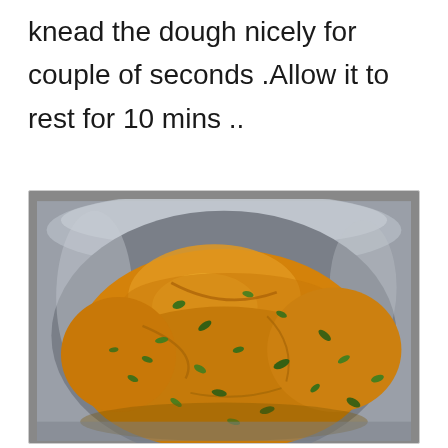knead the dough nicely for couple of seconds .Allow it to rest for 10 mins ..
[Figure (photo): A ball of yellow-orange spiced dough with green herb flecks (likely methi/fenugreek leaves) resting in a steel mixing bowl, viewed from above.]